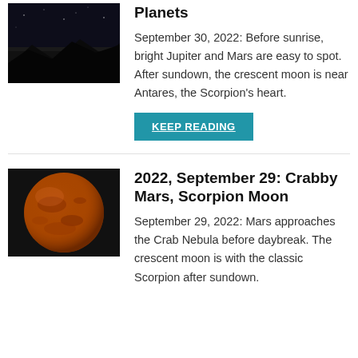[Figure (photo): Dark night sky photograph, cropped top portion visible]
Planets
September 30, 2022: Before sunrise, bright Jupiter and Mars are easy to spot.  After sundown, the crescent moon is near Antares, the Scorpion's heart.
KEEP READING
[Figure (photo): Orange-red planet Mars shown as a globe against black background]
2022, September 29: Crabby Mars, Scorpion Moon
September 29, 2022: Mars approaches the Crab Nebula before daybreak.  The crescent moon is with the classic Scorpion after sundown.